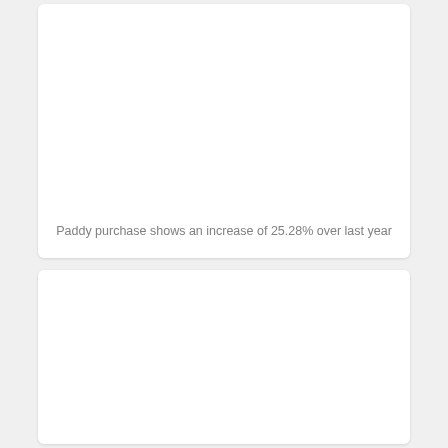[Figure (other): White card panel, upper section, mostly blank with a caption at the bottom.]
Paddy purchase shows an increase of 25.28% over last year
[Figure (other): White card panel, lower section, mostly blank.]